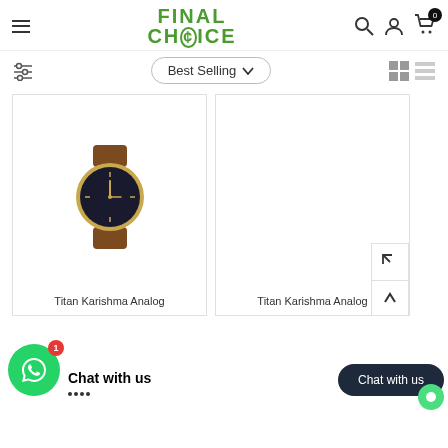Final Choice - Best Selling - navigation header with hamburger menu, logo, search, user, cart icons
Best Selling
[Figure (screenshot): Product card showing Titan Karishma Analog watch with brown leather strap and black dial, gold case]
Titan Karishma Analog
[Figure (screenshot): Second product card partially visible, showing Titan Karishma Analog, with expand and scroll-up icons on right edge]
Titan Karishma Analog
Chat with us